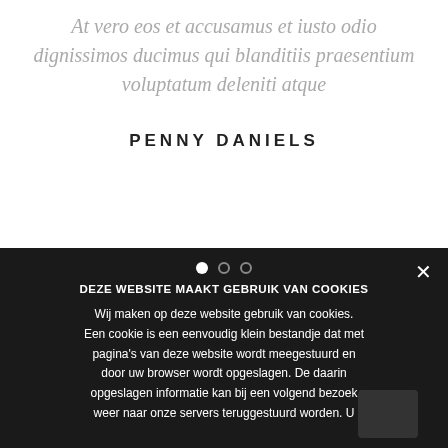At vero eos et accusamus et iusto odio dignissimos ducimus qui blanditiis praesentium voluptatum deleniti atque
PENNY DANIELS
DEZE WEBSITE MAAKT GEBRUIK VAN COOKIES
Wij maken op deze website gebruik van cookies. Een cookie is een eenvoudig klein bestandje dat met pagina's van deze website wordt meegestuurd en door uw browser wordt opgeslagen. De daarin opgeslagen informatie kan bij een volgend bezoek weer naar onze servers teruggestuurd worden. U